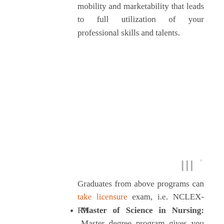mobility and marketability that leads to full utilization of your professional skills and talents.
[Figure (logo): Small decorative logo mark in gray, resembling stylized letters with a degree symbol]
Graduates from above programs can take licensure exam, i.e. NCLEX-RN.
Master of Science in Nursing: Master degree program gives you chance to explore